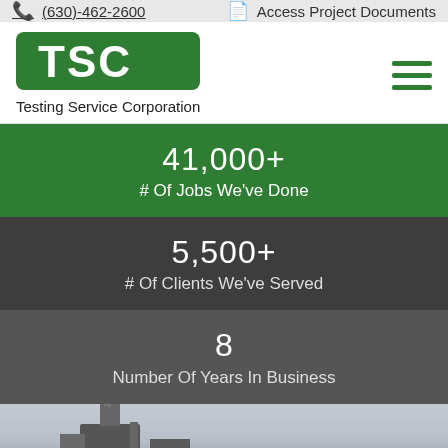(630)-462-2600  Access Project Documents
[Figure (logo): TSC Testing Service Corporation logo with green rounded rectangle and white TSC text, hamburger menu icon]
Testing Service Corporation
41,000+
# Of Jobs We've Done
5,500+
# Of Clients We've Served
8
Number Of Years In Business
[Figure (photo): Partial photo of a building or structure with a light gray sky background]